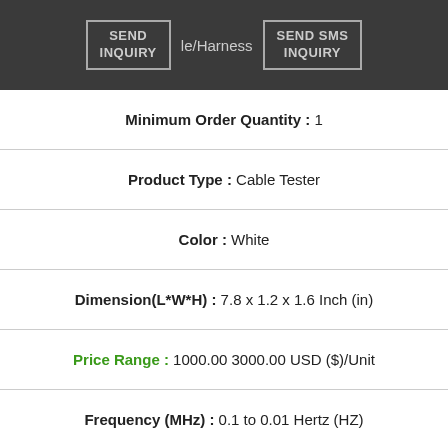SEND INQUIRY | le/Harness | SEND SMS INQUIRY
Minimum Order Quantity : 1
Product Type : Cable Tester
Color : White
Dimension(L*W*H) : 7.8 x 1.2 x 1.6 Inch (in)
Price Range : 1000.00 3000.00 USD ($)/Unit
Frequency (MHz) : 0.1 to 0.01 Hertz (HZ)